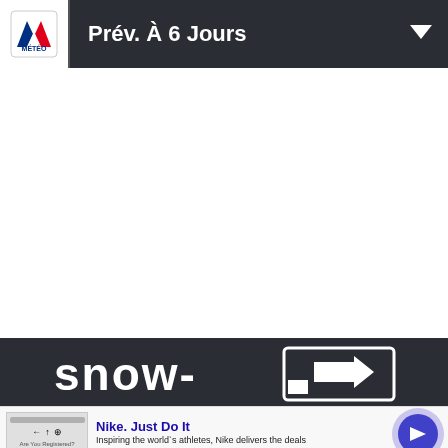Prév. À 6 Jours
[Figure (screenshot): White blank content area in the middle of the page]
[Figure (logo): Snow-3D logo in dark bar, white sans-serif text reading 'snow-' with a 3D box icon]
[Figure (infographic): Nike advertisement banner: Nike. Just Do It — Inspiring the world's athletes, Nike delivers the deals — www.nike.com]